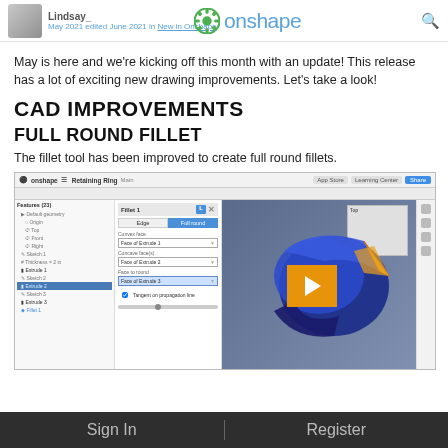Lindsay_ | onshape | May 2021 edited June 2021 in New in Onshape
May is here and we're kicking off this month with an update! This release has a lot of exciting new drawing improvements. Let's take a look!
CAD IMPROVEMENTS
FULL ROUND FILLET
The fillet tool has been improved to create full round fillets.
[Figure (screenshot): Onshape CAD interface showing the Fillet dialog with 'Full Round' tab selected, featuring a 3D view of a blue retaining ring part with a play button overlay]
Sign In    Register